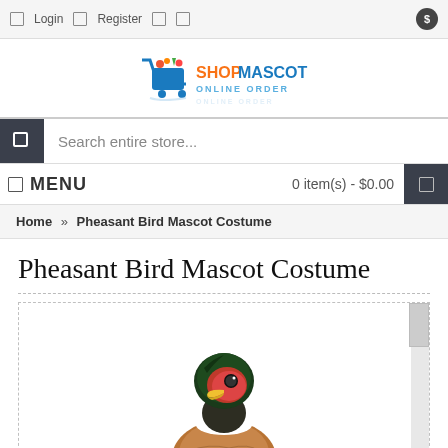Login  Register  $
[Figure (logo): Shop Mascot Online Order logo with shopping cart]
Search entire store...
MENU  0 item(s) - $0.00
Home » Pheasant Bird Mascot Costume
Pheasant Bird Mascot Costume
[Figure (photo): Pheasant bird mascot costume head - colorful bird with dark green head, red face, yellow beak, white collar ring]